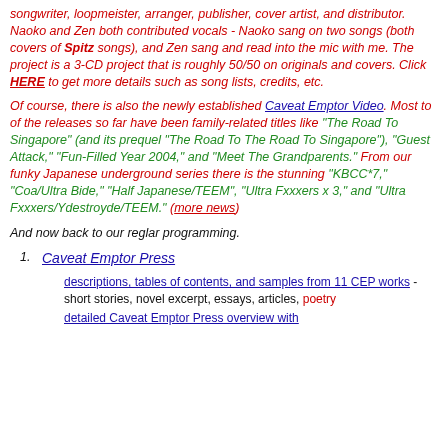songwriter, loopmeister, arranger, publisher, cover artist, and distributor. Naoko and Zen both contributed vocals - Naoko sang on two songs (both covers of Spitz songs), and Zen sang and read into the mic with me. The project is a 3-CD project that is roughly 50/50 on originals and covers. Click HERE to get more details such as song lists, credits, etc.
Of course, there is also the newly established Caveat Emptor Video. Most to of the releases so far have been family-related titles like "The Road To Singapore" (and its prequel "The Road To The Road To Singapore"), "Guest Attack," "Fun-Filled Year 2004," and "Meet The Grandparents." From our funky Japanese underground series there is the stunning "KBCC*7," "Coa/Ultra Bide," "Half Japanese/TEEM", "Ultra Fxxxers x 3," and "Ultra Fxxxers/Ydestroyde/TEEM." (more news)
And now back to our reglar programming.
Caveat Emptor Press
descriptions, tables of contents, and samples from 11 CEP works - short stories, novel excerpt, essays, articles, poetry
detailed Caveat Emptor Press overview with